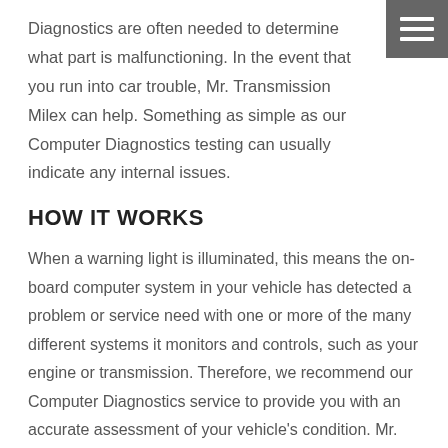Diagnostics are often needed to determine what part is malfunctioning. In the event that you run into car trouble, Mr. Transmission Milex can help. Something as simple as our Computer Diagnostics testing can usually indicate any internal issues.
HOW IT WORKS
When a warning light is illuminated, this means the on-board computer system in your vehicle has detected a problem or service need with one or more of the many different systems it monitors and controls, such as your engine or transmission. Therefore, we recommend our Computer Diagnostics service to provide you with an accurate assessment of your vehicle's condition. Mr. Transmission Computer Diagnostics services utilize state-of-the-art equipment, which is connected to your vehicle to view any computer trouble codes.